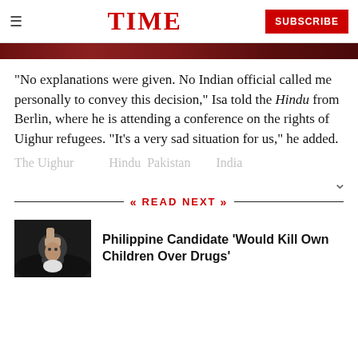TIME | SUBSCRIBE
[Figure (photo): Dark red/maroon colored image strip at top of article]
“No explanations were given. No Indian official called me personally to convey this decision,” Isa told the Hindu from Berlin, where he is attending a conference on the rights of Uighur refugees. “It’s a very sad situation for us,” he added.
The Uighur... [truncated line]
READ NEXT
Philippine Candidate 'Would Kill Own Children Over Drugs'